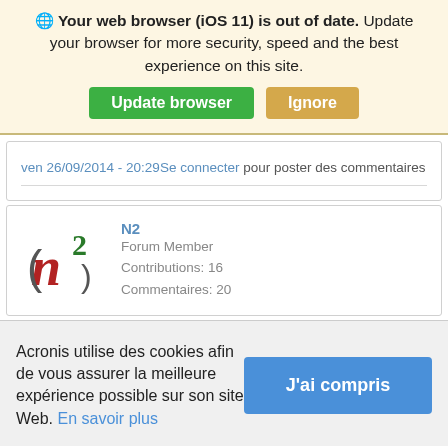🌐 Your web browser (iOS 11) is out of date. Update your browser for more security, speed and the best experience on this site. [Update browser] [Ignore]
ven 26/09/2014 - 20:29 Se connecter pour poster des commentaires
[Figure (logo): N2 user avatar logo with stylized lowercase n and superscript 2 in red and green]
N2
Forum Member
Contributions: 16
Commentaires: 20
Acronis utilise des cookies afin de vous assurer la meilleure expérience possible sur son site Web. En savoir plus [J'ai compris]